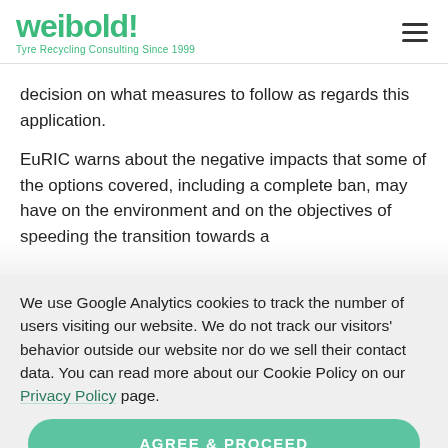weibold! Tyre Recycling Consulting Since 1999
decision on what measures to follow as regards this application.
EuRIC warns about the negative impacts that some of the options covered, including a complete ban, may have on the environment and on the objectives of speeding the transition towards a
We use Google Analytics cookies to track the number of users visiting our website. We do not track our visitors' behavior outside our website nor do we sell their contact data. You can read more about our Cookie Policy on our Privacy Policy page.
AGREE & PROCEED